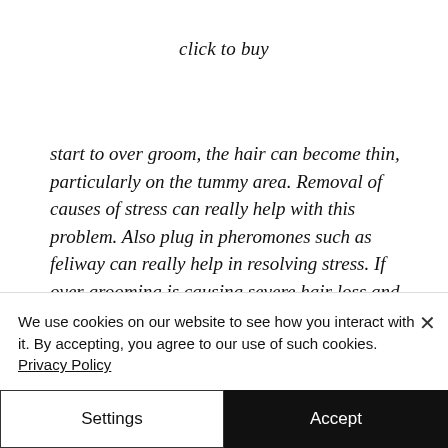click to buy
start to over groom, the hair can become thin, particularly on the tummy area. Removal of causes of stress can really help with this problem. Also plug in pheromones such as feliway can really help in resolving stress. If over grooming is causing severe hair loss and distress always get it checked by your vet to
We use cookies on our website to see how you interact with it. By accepting, you agree to our use of such cookies. Privacy Policy
Settings
Accept